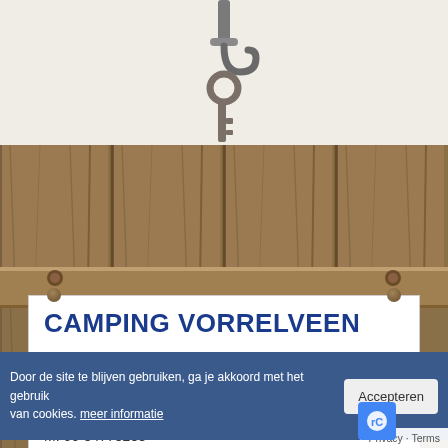[Figure (photo): Key hook on a cream/beige background at the top of the page]
[Figure (photo): Wooden fence planks background texture]
CAMPING VORRELVEEN
John Teuben en Bianca van den Berg
V...
9411 VB Rolde
T: 0593-527261
M: 06-34778283
Door de site te blijven gebruiken, ga je akkoord met het gebruik van cookies. meer informatie
Privacy · Terms